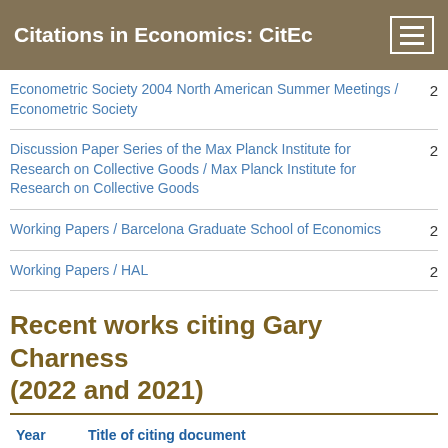Citations in Economics: CitEc
Econometric Society 2004 North American Summer Meetings / Econometric Society	2
Discussion Paper Series of the Max Planck Institute for Research on Collective Goods / Max Planck Institute for Research on Collective Goods	2
Working Papers / Barcelona Graduate School of Economics	2
Working Papers / HAL	2
Recent works citing Gary Charness (2022 and 2021)
| Year | Title of citing document |
| --- | --- |
|  | Higher-order Beliefs in a Sequential Social Dilemma. (2022). Salford, Evan ; Chakraborty, Anujit |